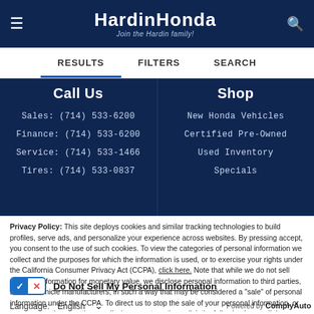HardinHonda — Join the Hardin family!
RESULTS  FILTERS  SEARCH
Call Us
Sales: (714) 533-6200
Finance: (714) 533-6200
Service: (714) 533-1466
Tires: (714) 533-0837
Shop
New Honda Vehicles
Certified Pre-Owned
Used Inventory
Specials
Privacy Policy: This site deploys cookies and similar tracking technologies to build profiles, serve ads, and personalize your experience across websites. By pressing accept, you consent to the use of such cookies. To view the categories of personal information we collect and the purposes for which the information is used, or to exercise your rights under the California Consumer Privacy Act (CCPA), click here. Note that while we do not sell personal information for monetary value, we disclose personal information to third parties, such as vehicle manufacturers, in such a way that may be considered a "sale" of personal information under the CCPA. To direct us to stop the sale of your personal information, or to re-access these settings or disclosures at anytime, click the following icon or link:
Do Not Sell My Personal Information
Language: English  Powered by ComplyAuto
ACCEPT AND CONTINUE →  California Privacy Disclosures